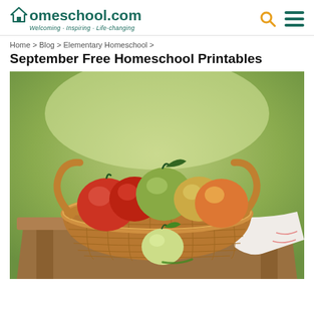homeschool.com — Welcoming · Inspiring · Life-changing
Home > Blog > Elementary Homeschool >
September Free Homeschool Printables
[Figure (photo): A wicker basket filled with red and green apples sitting on a rustic wooden table outdoors, with a white cloth draped over one side and green foliage in the background.]